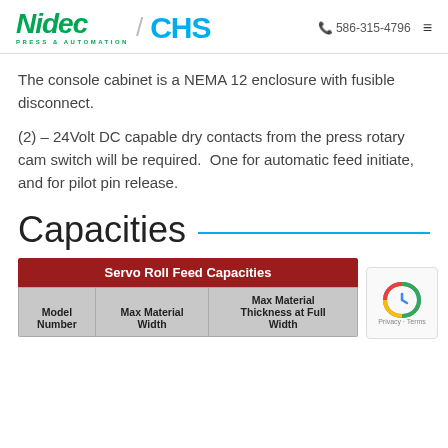Nidec Press & Automation / CHS  586-315-4796
The console cabinet is a NEMA 12 enclosure with fusible disconnect.
(2) – 24Volt DC capable dry contacts from the press rotary cam switch will be required.  One for automatic feed initiate, and for pilot pin release.
Capacities
| Model Number | Max Material Width | Max Material Thickness at Full Width |
| --- | --- | --- |